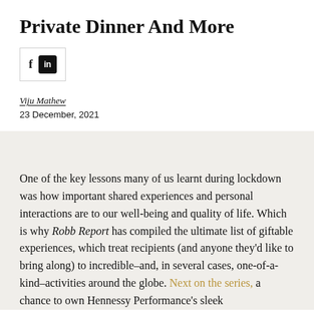Private Dinner And More
[Figure (other): Social sharing icons: Facebook (f) and LinkedIn (in)]
Viju Mathew
23 December, 2021
One of the key lessons many of us learnt during lockdown was how important shared experiences and personal interactions are to our well-being and quality of life. Which is why Robb Report has compiled the ultimate list of giftable experiences, which treat recipients (and anyone they'd like to bring along) to incredible–and, in several cases, one-of-a-kind–activities around the globe. Next on the series, a chance to own Hennessy Performance's sleek